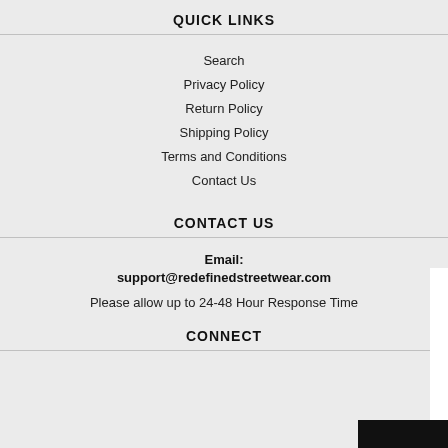QUICK LINKS
Search
Privacy Policy
Return Policy
Shipping Policy
Terms and Conditions
Contact Us
CONTACT US
Email: support@redefinedstreetwear.com
Please allow up to 24-48 Hour Response Time
CONNECT